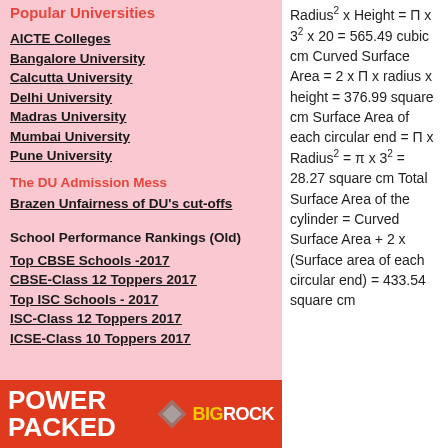Popular Universities
AICTE Colleges
Bangalore University
Calcutta University
Delhi University
Madras University
Mumbai University
Pune University
The DU Admission Mess
Brazen Unfairness of DU's cut-offs
School Performance Rankings (Old)
Top CBSE Schools -2017
CBSE-Class 12 Toppers 2017
Top ISC Schools - 2017
ISC-Class 12 Toppers 2017
ICSE-Class 10 Toppers 2017
[Figure (infographic): BigRock POWER PACKED banner advertisement in red with white text and BigRock logo]
Radius² x Height = Π x 3² x 20 = 565.49 cubic cm Curved Surface Area = 2 x Π x radius x height = 376.99 square cm Surface Area of each circular end = Π x Radius² = π x 3² = 28.27 square cm Total Surface Area of the cylinder = Curved Surface Area + 2 x (Surface area of each circular end) = 433.54 square cm